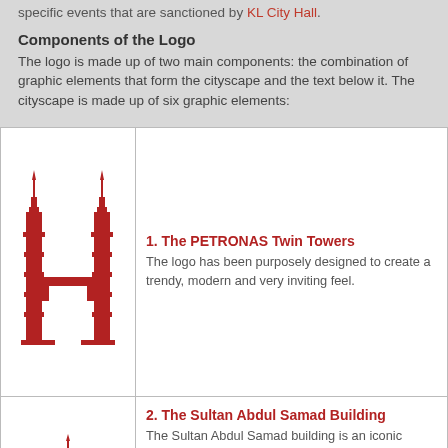specific events that are sanctioned by KL City Hall.
Components of the Logo
The logo is made up of two main components: the combination of graphic elements that form the cityscape and the text below it. The cityscape is made up of six graphic elements:
| [PETRONAS Twin Towers icon] | 1. The PETRONAS Twin Towers
The logo has been purposely designed to create a trendy, modern and very inviting feel. |
| [Sultan Abdul Samad Building icon] | 2. The Sultan Abdul Samad Building
The Sultan Abdul Samad building is an iconic architectural icon that is distinctive to Kuala Lumpur. The building is included as an element in the logo because it depicts the rich history of the country and the city. Over the years, it has bore witness to many historical events that have taken place on what is known today as the 'Dataran Merdeka'. The Moorish architecture also depicts the cultural heritage of the city. The |